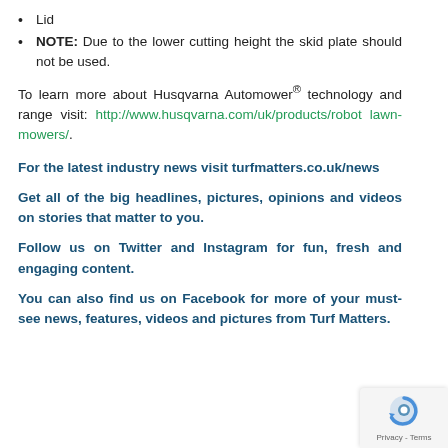Lid
NOTE: Due to the lower cutting height the skid plate should not be used.
To learn more about Husqvarna Automower® technology and range visit: http://www.husqvarna.com/uk/products/robot lawn-mowers/.
For the latest industry news visit turfmatters.co.uk/news
Get all of the big headlines, pictures, opinions and videos on stories that matter to you.
Follow us on Twitter and Instagram for fun, fresh and engaging content.
You can also find us on Facebook for more of your must-see news, features, videos and pictures from Turf Matters.